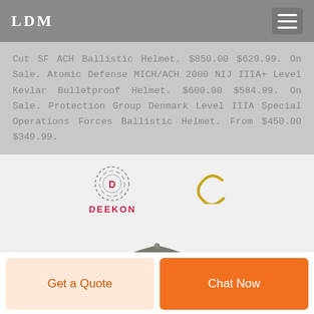LDM
Cut SF ACH Ballistic Helmet. $850.00 $629.99. On Sale. Atomic Defense MICH/ACH 2000 NIJ IIIA+ Level Kevlar Bulletproof Helmet. $600.00 $584.99. On Sale. Protection Group Denmark Level IIIA Special Operations Forces Ballistic Helmet. From $450.00 $349.99.
[Figure (logo): DEEKON brand logo with circular badge icon and red DEEKON text, alongside a yellow C loading spinner icon]
[Figure (photo): Gray military/tactical cap with embroidered shield patch on the side]
Get a Quote
Chat Now